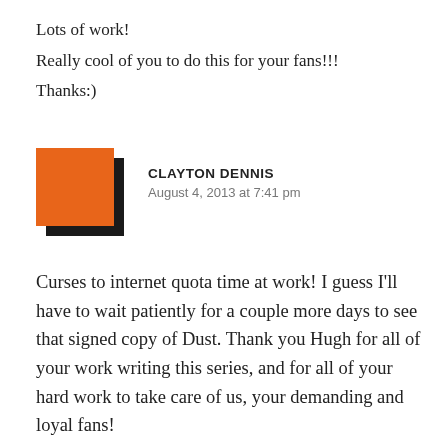Lots of work!
Really cool of you to do this for your fans!!!
Thanks:)
[Figure (illustration): Orange square avatar with dark shadow offset, representing a user profile image for Clayton Dennis]
CLAYTON DENNIS
August 4, 2013 at 7:41 pm
Curses to internet quota time at work! I guess I'll have to wait patiently for a couple more days to see that signed copy of Dust. Thank you Hugh for all of your work writing this series, and for all of your hard work to take care of us, your demanding and loyal fans!